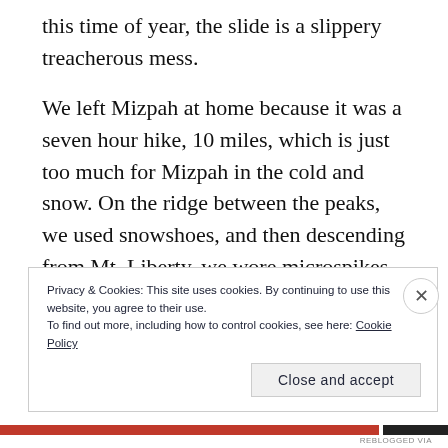this time of year, the slide is a slippery treacherous mess.
We left Mizpah at home because it was a seven hour hike, 10 miles, which is just too much for Mizpah in the cold and snow. On the ridge between the peaks, we used snowshoes, and then descending from Mt. Liberty, we wore microspikes. It was beautiful up there- the snow and the rime ice were so pretty. It almost looks like another planet up there.
Privacy & Cookies: This site uses cookies. By continuing to use this website, you agree to their use.
To find out more, including how to control cookies, see here: Cookie Policy
Close and accept